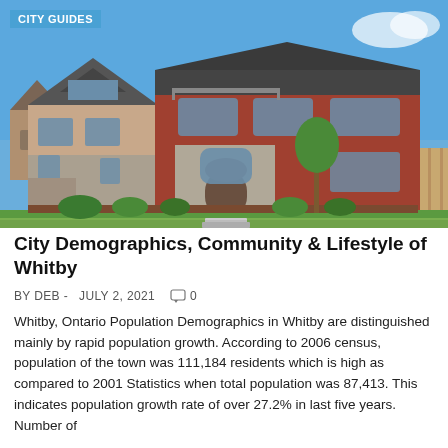[Figure (photo): Exterior of a large two-story brick and stone residential house with large windows, landscaping with shrubs and a young tree, blue sky background, suburban neighborhood visible on the left.]
City Demographics, Community & Lifestyle of Whitby
BY DEB -  JULY 2, 2021   0
Whitby, Ontario Population Demographics in Whitby are distinguished mainly by rapid population growth. According to 2006 census, population of the town was 111,184 residents which is high as compared to 2001 Statistics when total population was 87,413. This indicates population growth rate of over 27.2% in last five years. Number of